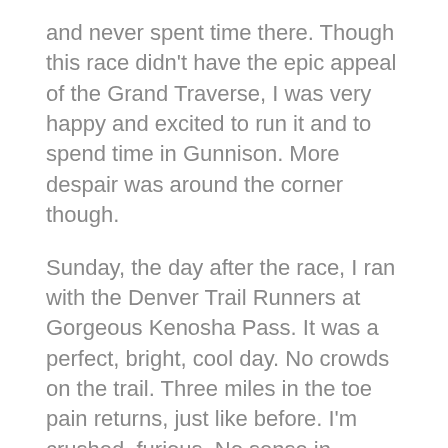and never spent time there. Though this race didn't have the epic appeal of the Grand Traverse, I was very happy and excited to run it and to spend time in Gunnison. More despair was around the corner though.
Sunday, the day after the race, I ran with the Denver Trail Runners at Gorgeous Kenosha Pass. It was a perfect, bright, cool day. No crowds on the trail. Three miles in the toe pain returns, just like before. I'm crushed, furious. No sense in running further, I'll just hurt it more, I turned around and headed back to the trailhead.
On the return, I started to play with how my foot hits the ground and how I push off. I biased heavily to the outside of the foot. Not that I'm walked with my foot completely inverted but I deliberately created more pressure and more pushed through